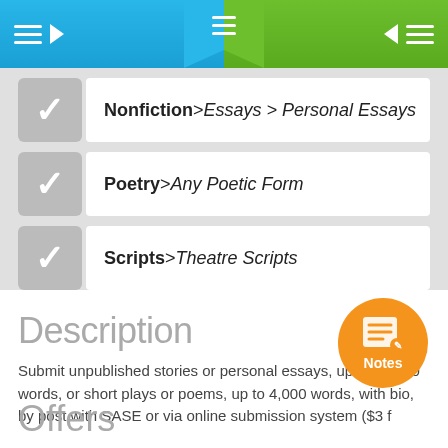[Figure (screenshot): Mobile app navigation bar with blue left panel (hamburger + arrow), green right panel (arrow + hamburger), and center chevron with hamburger icon]
Nonfiction > Essays > Personal Essays
Poetry > Any Poetic Form
Scripts > Theatre Scripts
Description
Submit unpublished stories or personal essays, up to 10,000 words, or short plays or poems, up to 4,000 words, with bio, by post with SASE or via online submission system ($3 f...
Offers